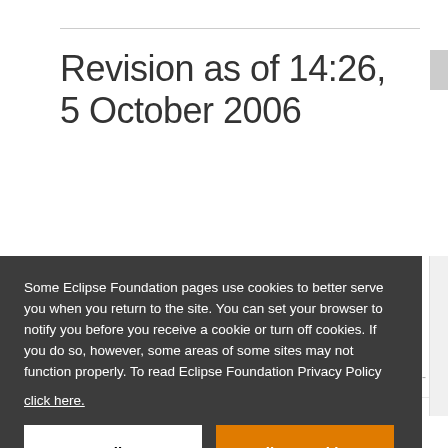Revision as of 14:26, 5 October 2006
Some Eclipse Foundation pages use cookies to better serve you when you return to the site. You can set your browser to notify you before you receive a cookie or turn off cookies. If you do so, however, some areas of some sites may not function properly. To read Eclipse Foundation Privacy Policy click here.
Decline
Allow cookies
2.4 Contexts